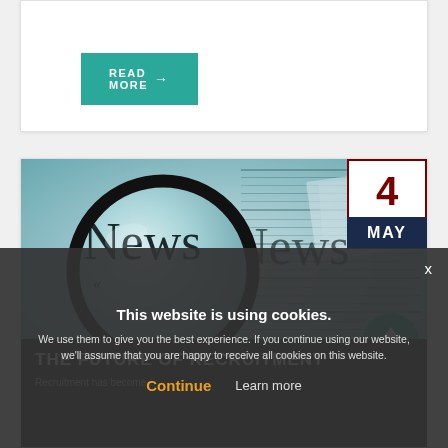READ MORE →
[Figure (photo): Magnifying glass over newspaper with the word 'News' visible, teal/blue toned image]
4
MAY
THE FUTURE OF RECRUITMENT
Recruitment has become...
This website is using cookies. We use them to give you the best experience. If you continue using our website, we'll assume that you are happy to receive all cookies on this website.
Continue   Learn more